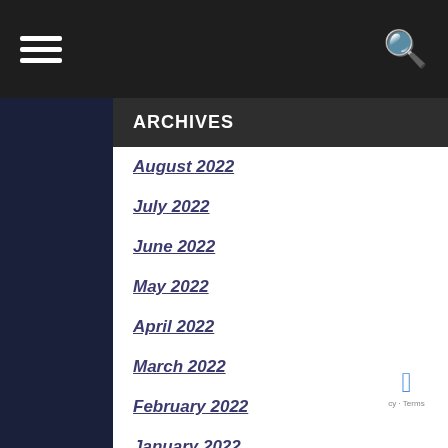Navigation bar with hamburger menu and search icon
ARCHIVES
August 2022
July 2022
June 2022
May 2022
April 2022
March 2022
February 2022
January 2022
December 2021
November 2021
October 2021
September 2021
August 2021
July 2021